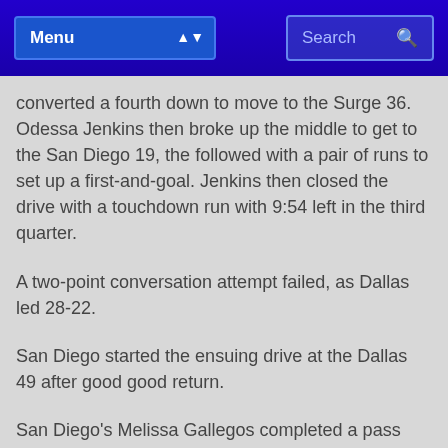Menu | Search
converted a fourth down to move to the Surge 36. Odessa Jenkins then broke up the middle to get to the San Diego 19, the followed with a pair of runs to set up a first-and-goal. Jenkins then closed the drive with a touchdown run with 9:54 left in the third quarter.
A two-point conversation attempt failed, as Dallas led 28-22.
San Diego started the ensuing drive at the Dallas 49 after good good return.
San Diego's Melissa Gallegos completed a pass and receiver Kaycee Clark made a tremendous leaping catch for a first down inside the Dallas 25-yard line. However, Dallas' defense forced a turnover on downs.